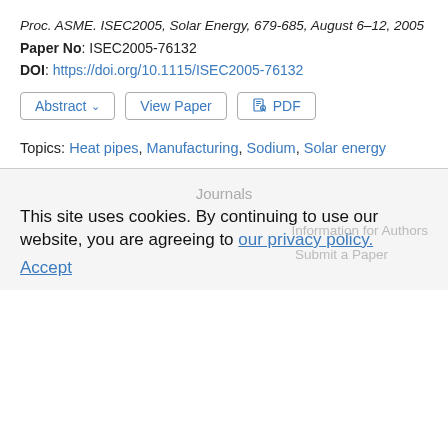Proc. ASME. ISEC2005, Solar Energy, 679-685, August 6–12, 2005
Paper No: ISEC2005-76132
DOI: https://doi.org/10.1115/ISEC2005-76132
Abstract  View Paper  PDF
Topics: Heat pipes, Manufacturing, Sodium, Solar energy
Journals
This site uses cookies. By continuing to use our website, you are agreeing to our privacy policy. Accept
Information for Authors
Submit a Paper